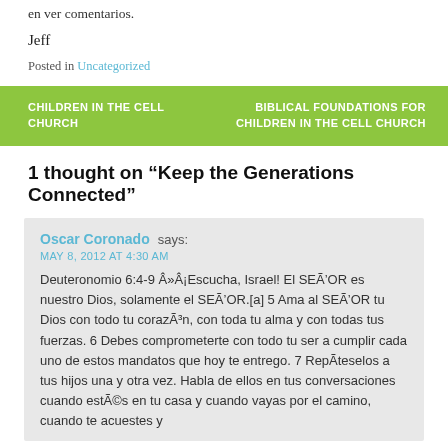en ver comentarios.
Jeff
Posted in Uncategorized
CHILDREN IN THE CELL CHURCH
BIBLICAL FOUNDATIONS FOR CHILDREN IN THE CELL CHURCH
1 thought on “Keep the Generations Connected”
Oscar Coronado says:
MAY 8, 2012 AT 4:30 AM
Deuteronomio 6:4-9 Â»Â¡Escucha, Israel! El SEÃ’OR es nuestro Dios, solamente el SEÃ’OR.[a] 5 Ama al SEÃ’OR tu Dios con todo tu corazÃ³n, con toda tu alma y con todas tus fuerzas. 6 Debes comprometerte con todo tu ser a cumplir cada uno de estos mandatos que hoy te entrego. 7 RepÃteselos a tus hijos una y otra vez. Habla de ellos en tus conversaciones cuando estÃ©s en tu casa y cuando vayas por el camino, cuando te acuestes y